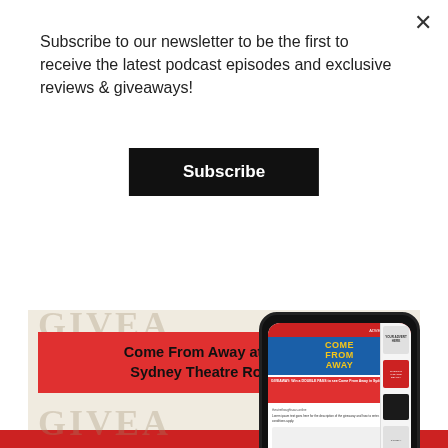Subscribe to our newsletter to be the first to receive the latest podcast episodes and exclusive reviews & giveaways!
Subscribe
[Figure (infographic): Giveaway promotional image for 'Come From Away at the Sydney Theatre Royal'. Beige/cream background with large watermark text 'GIVEAWAY'. Red banner with title text. White card with three checklist items: 'Go to link in our bio', 'Get the Monthly', 'Fill in the form'. Phone mockup showing a website. URL: theatrethoughtsaus.online at the bottom.]